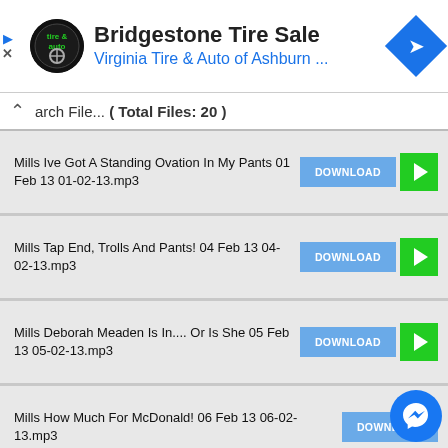[Figure (screenshot): Ad banner for Bridgestone Tire Sale by Virginia Tire & Auto of Ashburn with logo and navigation icon]
arch File... ( Total Files: 20 )
Mills Ive Got A Standing Ovation In My Pants 01 Feb 13 01-02-13.mp3
Mills Tap End, Trolls And Pants! 04 Feb 13 04-02-13.mp3
Mills Deborah Meaden Is In.... Or Is She 05 Feb 13 05-02-13.mp3
Mills How Much For McDonald! 06 Feb 13 06-02-13.mp3
Mills Sare Sex Innuendo Bingo #AA